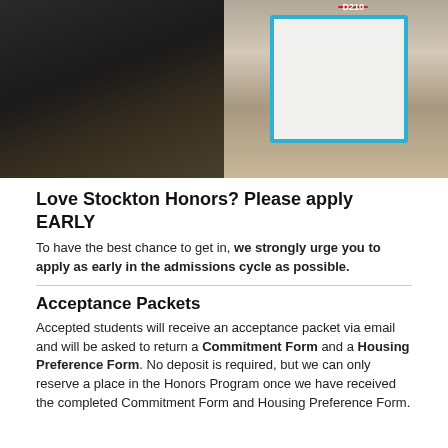[Figure (photo): A smiling young woman in a black polo shirt standing next to a wooden door with a blue-framed whiteboard and colorful magnets. The whiteboard reads 'Feel free to knock if you have any Questions!']
Love Stockton Honors? Please apply EARLY
To have the best chance to get in, we strongly urge you to apply as early in the admissions cycle as possible.
Acceptance Packets
Accepted students will receive an acceptance packet via email and will be asked to return a Commitment Form and a Housing Preference Form. No deposit is required, but we can only reserve a place in the Honors Program once we have received the completed Commitment Form and Housing Preference Form.